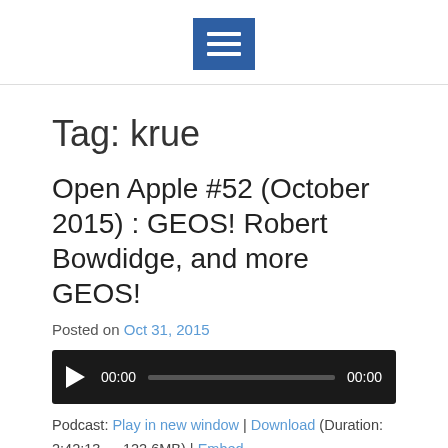[hamburger menu icon]
Tag: krue
Open Apple #52 (October 2015) : GEOS! Robert Bowdidge, and more GEOS!
Posted on Oct 31, 2015
[Figure (other): Audio player widget with play button, time display 00:00, progress bar, and end time 00:00]
Podcast: Play in new window | Download (Duration: 2:42:13 — 122.6MB) | Embed
Subscribe: Apple Podcasts | Google Podcasts | Spotify | Amazon Music | Pandora | iHeartRadio | Stitcher | TuneIn |